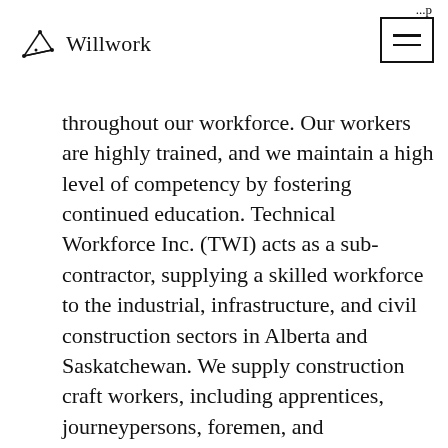...p
Willwork
throughout our workforce. Our workers are highly trained, and we maintain a high level of competency by fostering continued education. Technical Workforce Inc. (TWI) acts as a sub-contractor, supplying a skilled workforce to the industrial, infrastructure, and civil construction sectors in Alberta and Saskatchewan. We supply construction craft workers, including apprentices, journeypersons, foremen, and superintendents in all compulsory and non-compulsory trades.